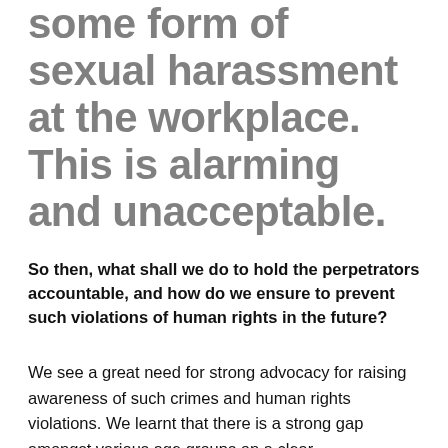some form of sexual harassment at the workplace. This is alarming and unacceptable.
So then, what shall we do to hold the perpetrators accountable, and how do we ensure to prevent such violations of human rights in the future?
We see a great need for strong advocacy for raising awareness of such crimes and human rights violations. We learnt that there is a strong gap amongst various age groups on a clear understanding of what sexual harassment and violence and harassment are. Definitions vary and disagree often blend. For some, abuse stands